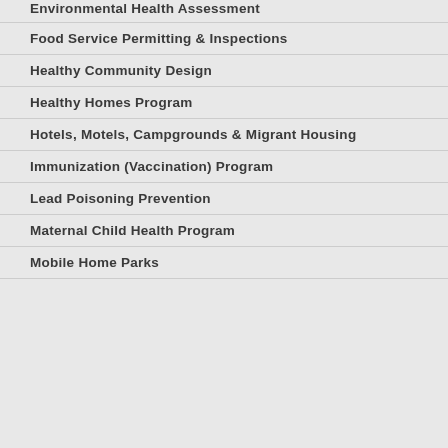Environmental Health Assessment
Food Service Permitting & Inspections
Healthy Community Design
Healthy Homes Program
Hotels, Motels, Campgrounds & Migrant Housing
Immunization (Vaccination) Program
Lead Poisoning Prevention
Maternal Child Health Program
Mobile Home Parks